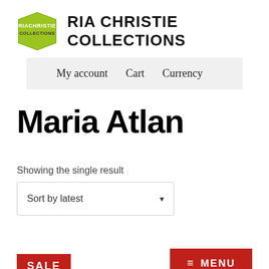[Figure (logo): RiaChristie Collections logo — green pentagon/shield shape with white text 'RIACHRISTIE COLLECTIONS']
RIA CHRISTIE COLLECTIONS
My account   Cart   Currency
Maria Atlan
Showing the single result
Sort by latest
SALE
≡ MENU